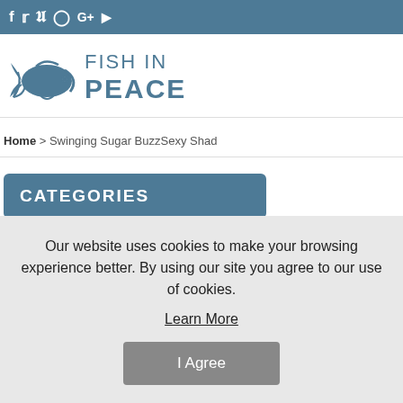f  Twitter  Pinterest  Instagram  G+  YouTube (social media icons)
[Figure (logo): Fish in Peace logo — fish graphic with text FISH IN PEACE in teal/blue]
Home > Swinging Sugar BuzzSexy Shad
CATEGORIES
Baits, Lures & Flies
Our website uses cookies to make your browsing experience better. By using our site you agree to our use of cookies. Learn More
I Agree